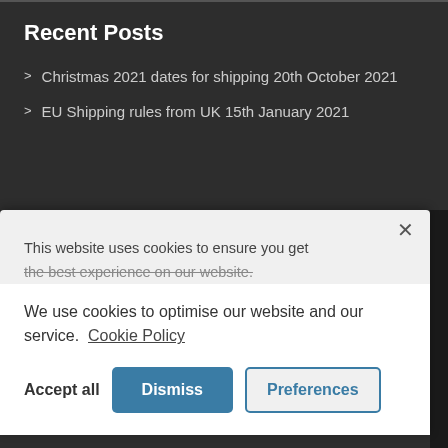Recent Posts
> Christmas 2021 dates for shipping 20th October 2021
> EU Shipping rules from UK 15th January 2021
This website uses cookies to ensure you get the best experience on our website.
We use cookies to optimise our website and our service. Cookie Policy
Accept all
Dismiss
Preferences